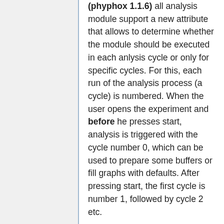(phyphox 1.1.6) all analysis module support a new attribute that allows to determine whether the module should be executed in each anlysis cycle or only for specific cycles. For this, each run of the analysis process (a cycle) is numbered. When the user opens the experiment and before he presses start, analysis is triggered with the cycle number 0, which can be used to prepare some buffers or fill graphs with defaults. After pressing start, the first cycle is number 1, followed by cycle 2 etc.
You can then set the attribute cycles for any analysis module. If not set, the module is executed in every cycle (including 0). If set it is only executed in the cycles that you specify by a space separated list. For example, cycles="1 3 42" means that the module is only